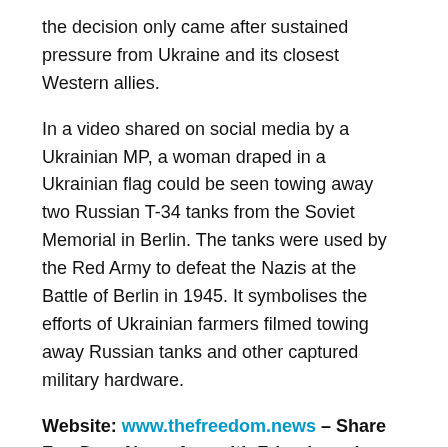the decision only came after sustained pressure from Ukraine and its closest Western allies.
In a video shared on social media by a Ukrainian MP, a woman draped in a Ukrainian flag could be seen towing away two Russian T-34 tanks from the Soviet Memorial in Berlin. The tanks were used by the Red Army to defeat the Nazis at the Battle of Berlin in 1945. It symbolises the efforts of Ukrainian farmers filmed towing away Russian tanks and other captured military hardware.
Website: www.thefreedom.news – Share FreeDom News App with Friends and Family.
TAGS: featured, Kyiv, Scholz, Volodymyr Zelensky